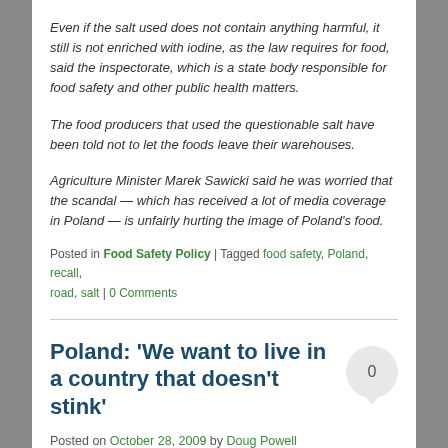Even if the salt used does not contain anything harmful, it still is not enriched with iodine, as the law requires for food, said the inspectorate, which is a state body responsible for food safety and other public health matters.
The food producers that used the questionable salt have been told not to let the foods leave their warehouses.
Agriculture Minister Marek Sawicki said he was worried that the scandal — which has received a lot of media coverage in Poland — is unfairly hurting the image of Poland's food.
Posted in Food Safety Policy | Tagged food safety, Poland, recall, road, salt | 0 Comments
Poland: 'We want to live in a country that doesn't stink'
Posted on October 28, 2009 by Doug Powell